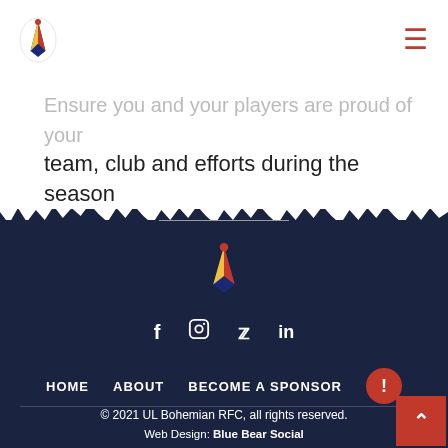UL Bohemian RFC navigation bar with logo and hamburger menu
Ensure you and your players are proud of your team, club and efforts during the season
[Figure (logo): UL Bohemian RFC logo in footer]
Social media icons: f (Facebook), Instagram, Twitter, LinkedIn
HOME   ABOUT   BECOME A SPONSOR
© 2021 UL Bohemian RFC, all rights reserved.
Web Design: Blue Bear Social